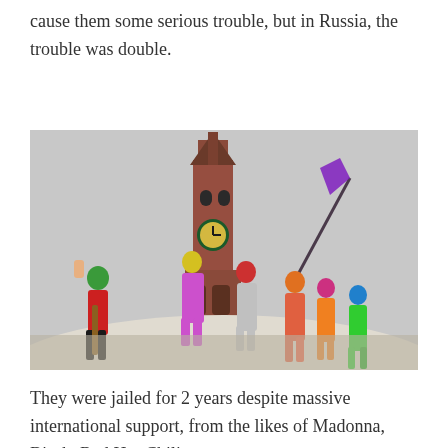cause them some serious trouble, but in Russia, the trouble was double.
[Figure (photo): Group of people wearing colorful balaclavas performing on a rooftop or elevated surface with the Kremlin's Spasskaya Tower visible in the background. One person holds a purple flag aloft, others pose in bright colored outfits.]
They were jailed for 2 years despite massive international support, from the likes of Madonna, Bjork, Red Hot Chili